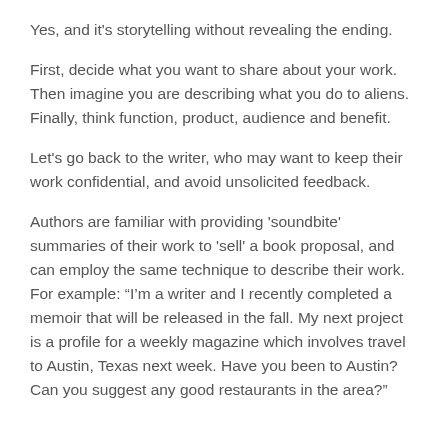Yes, and it's storytelling without revealing the ending.
First, decide what you want to share about your work. Then imagine you are describing what you do to aliens. Finally, think function, product, audience and benefit.
Let's go back to the writer, who may want to keep their work confidential, and avoid unsolicited feedback.
Authors are familiar with providing 'soundbite' summaries of their work to 'sell' a book proposal, and can employ the same technique to describe their work. For example: “I’m a writer and I recently completed a memoir that will be released in the fall. My next project is a profile for a weekly magazine which involves travel to Austin, Texas next week. Have you been to Austin? Can you suggest any good restaurants in the area?”